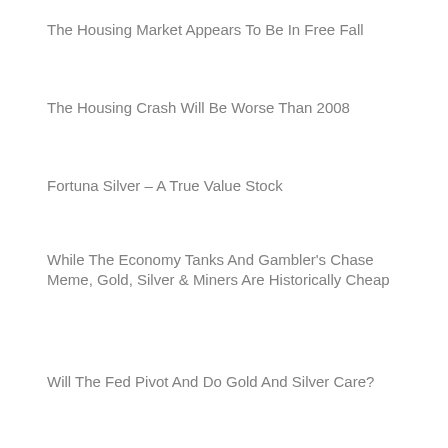The Housing Market Appears To Be In Free Fall
The Housing Crash Will Be Worse Than 2008
Fortuna Silver – A True Value Stock
While The Economy Tanks And Gambler's Chase Meme, Gold, Silver & Miners Are Historically Cheap
Will The Fed Pivot And Do Gold And Silver Care?
Podcasts
Mining Stock Journal
Short Seller's Journal
Buy Gold/Silver